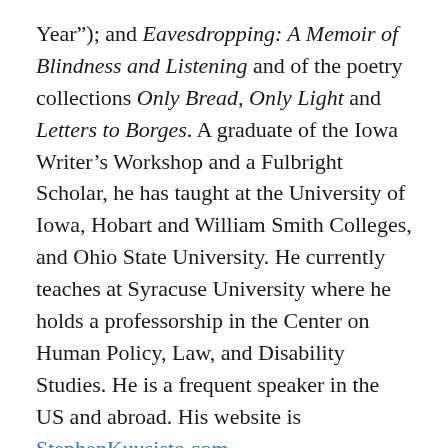Year"); and Eavesdropping: A Memoir of Blindness and Listening and of the poetry collections Only Bread, Only Light and Letters to Borges. A graduate of the Iowa Writer's Workshop and a Fulbright Scholar, he has taught at the University of Iowa, Hobart and William Smith Colleges, and Ohio State University. He currently teaches at Syracuse University where he holds a professorship in the Center on Human Policy, Law, and Disability Studies. He is a frequent speaker in the US and abroad. His website is StephenKuusisto.com.
Have Dog, Will Travel: A Poet's Journey is now available for pre-order: